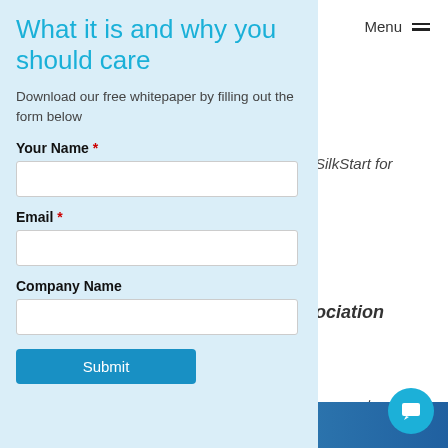What it is and why you should care
Download our free whitepaper by filling out the form below
Your Name *
Email *
Company Name
Submit
SilkStart for
ociation
nswers to
Federation
Menu